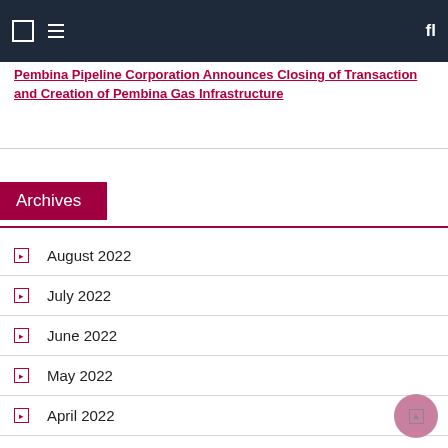Pembina Pipeline Corporation Announces Closing of Transaction and Creation of Pembina Gas Infrastructure
Archives
August 2022
July 2022
June 2022
May 2022
April 2022
March 2022